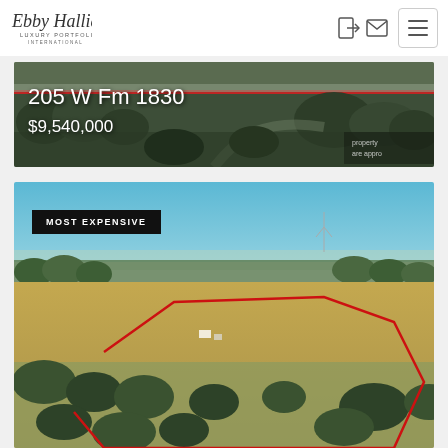[Figure (logo): Ebby Halliday Luxury Portfolio International logo in script font]
[Figure (photo): Aerial photo of 205 W Fm 1830 property showing road and trees with red boundary line overlay, price $9,540,000]
[Figure (photo): Aerial drone photo of large land parcel with red property boundary lines, labeled MOST EXPENSIVE, showing rural Texas landscape with trees and open fields]